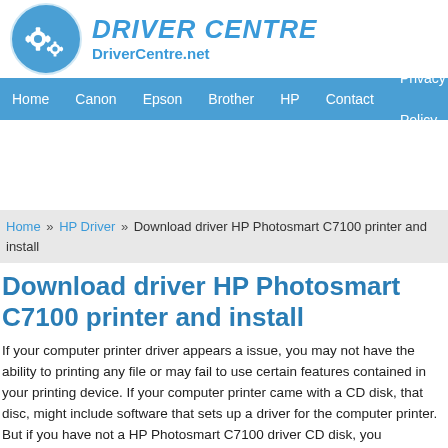[Figure (logo): Driver Centre logo: blue circle with white gear icons, and text 'DRIVER CENTRE' and 'DriverCentre.net' in blue]
Home   Canon   Epson   Brother   HP   Contact   Privacy Policy
Home » HP Driver » Download driver HP Photosmart C7100 printer and install
Download driver HP Photosmart C7100 printer and install
If your computer printer driver appears a issue, you may not have the ability to printing any file or may fail to use certain features contained in your printing device. If your computer printer came with a CD disk, that disc, might include software that sets up a driver for the computer printer. But if you have not a HP Photosmart C7100 driver CD disk, you